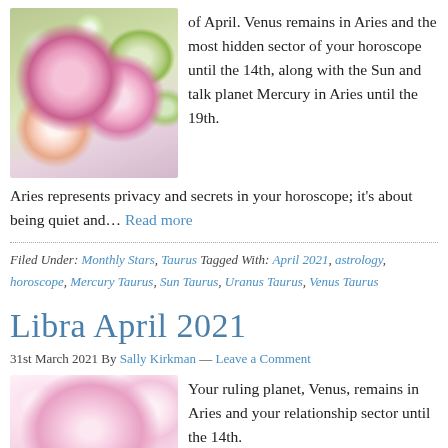[Figure (photo): Photo of a bouquet of pink and white roses with green flowers and baby's breath]
of April. Venus remains in Aries and the most hidden sector of your horoscope until the 14th, along with the Sun and talk planet Mercury in Aries until the 19th.
Aries represents privacy and secrets in your horoscope; it's about being quiet and… Read more
Filed Under: Monthly Stars, Taurus Tagged With: April 2021, astrology, horoscope, Mercury Taurus, Sun Taurus, Uranus Taurus, Venus Taurus
Libra April 2021
31st March 2021 By Sally Kirkman — Leave a Comment
[Figure (photo): Photo of soft pink rose petals, close up]
Your ruling planet, Venus, remains in Aries and your relationship sector until the 14th.